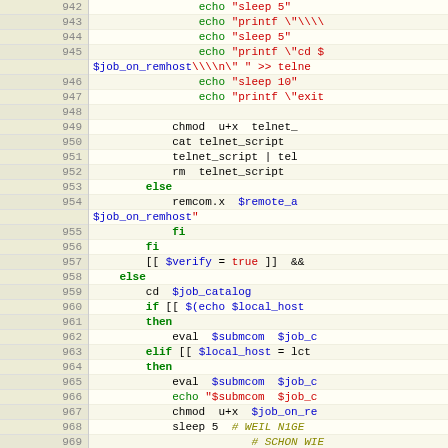[Figure (screenshot): Source code listing showing shell script lines 942-972 with line numbers in a gutter on the left. Code includes echo, chmod, cat, telnet_script, remcom.x, fi/else/then/elif/if constructs, eval, sleep, and variable references. Syntax highlighting: keywords in bold green, strings in red, variables in blue, commands in black, comments in olive.]